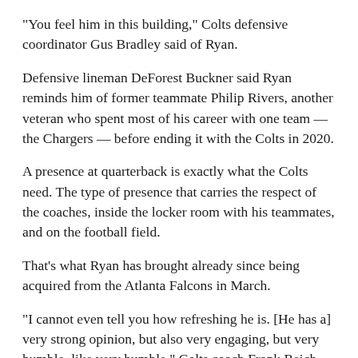"You feel him in this building," Colts defensive coordinator Gus Bradley said of Ryan.
Defensive lineman DeForest Buckner said Ryan reminds him of former teammate Philip Rivers, another veteran who spent most of his career with one team — the Chargers — before ending it with the Colts in 2020.
A presence at quarterback is exactly what the Colts need. The type of presence that carries the respect of the coaches, inside the locker room with his teammates, and on the football field.
That's what Ryan has brought already since being acquired from the Atlanta Falcons in March.
"I cannot even tell you how refreshing he is. [He has a] very strong opinion, but also very engaging, but very humble, like very humble," Colts coach Frank Reich said. "Very humble but very strong. It's just good. It's a really good dynamic, very professional in every way. It's just a collaboration, but he also understands he's coming in and learning a new offense, and he feels that right now, he feels it."